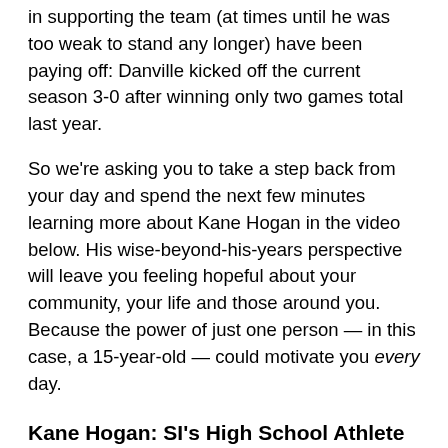in supporting the team (at times until he was too weak to stand any longer) have been paying off: Danville kicked off the current season 3-0 after winning only two games total last year.
So we're asking you to take a step back from your day and spend the next few minutes learning more about Kane Hogan in the video below. His wise-beyond-his-years perspective will leave you feeling hopeful about your community, your life and those around you. Because the power of just one person — in this case, a 15-year-old — could motivate you every day.
Kane Hogan: SI's High School Athlete of the Month